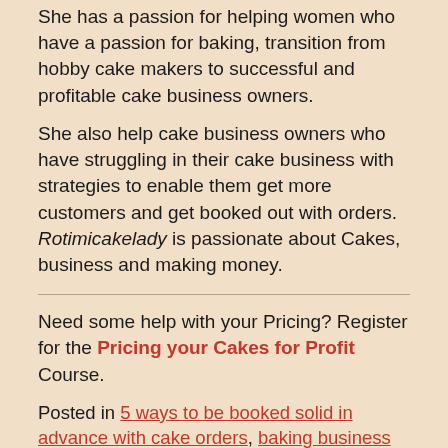She has a passion for helping women who have a passion for baking, transition from hobby cake makers to successful and profitable cake business owners.
She also help cake business owners who have struggling in their cake business with strategies to enable them get more customers and get booked out with orders. Rotimicakelady is passionate about Cakes, business and making money.
Need some help with your Pricing? Register for the Pricing your Cakes for Profit Course.
Posted in 5 ways to be booked solid in advance with cake orders, baking business school, cake business, How to get more cake orders, How to improve cake sales, How to make money selling cakes, marketing your cakes, Uncategorized and tagged cake sales on November 2, 2016.